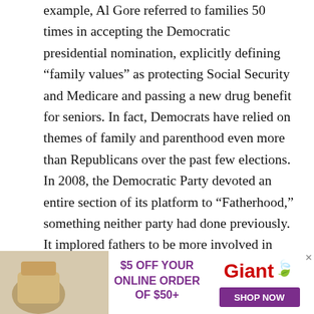example, Al Gore referred to families 50 times in accepting the Democratic presidential nomination, explicitly defining “family values” as protecting Social Security and Medicare and passing a new drug benefit for seniors. In fact, Democrats have relied on themes of family and parenthood even more than Republicans over the past few elections. In 2008, the Democratic Party devoted an entire section of its platform to “Fatherhood,” something neither party had done previously. It implored fathers to be more involved in their children’s lives and proposed government initiatives to support dads, including “providing transitional training to get jobs” and “expanding maternity and paternity leave.”
The politicization of parenthood has also reinforced the
[Figure (other): Advertisement banner for Giant supermarket: '$5 OFF YOUR ONLINE ORDER OF $50+' with SHOP NOW button and Giant logo with leaf icon]